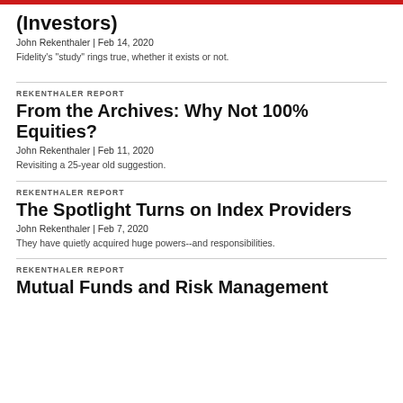(Investors)
John Rekenthaler | Feb 14, 2020
Fidelity's "study" rings true, whether it exists or not.
REKENTHALER REPORT
From the Archives: Why Not 100% Equities?
John Rekenthaler | Feb 11, 2020
Revisiting a 25-year old suggestion.
REKENTHALER REPORT
The Spotlight Turns on Index Providers
John Rekenthaler | Feb 7, 2020
They have quietly acquired huge powers--and responsibilities.
REKENTHALER REPORT
Mutual Funds and Risk Management